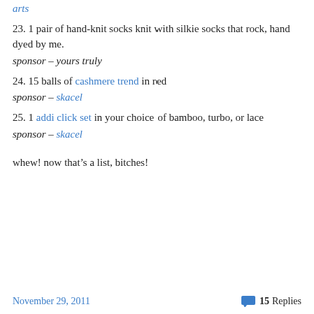arts
23. 1 pair of hand-knit socks knit with silkie socks that rock, hand dyed by me.
sponsor – yours truly
24. 15 balls of cashmere trend in red
sponsor – skacel
25. 1 addi click set in your choice of bamboo, turbo, or lace
sponsor – skacel
whew! now that's a list, bitches!
November 29, 2011   💬 15 Replies